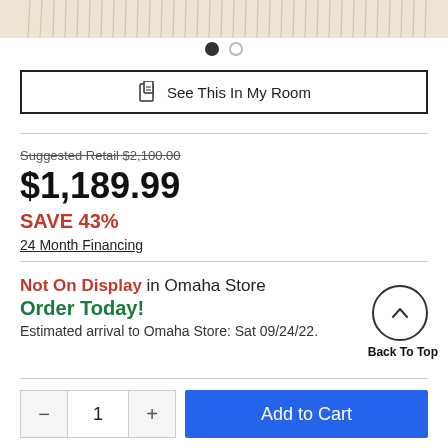[Figure (photo): Top fringe/tassel detail of a rug or textile product, beige/cream colored, partially visible at top of page]
[Figure (other): Two dot image carousel indicators: one filled black dot and one empty circle dot]
See This In My Room
Suggested Retail $2,100.00
$1,189.99
SAVE 43%
24 Month Financing
Not On Display in Omaha Store
Order Today!
Estimated arrival to Omaha Store: Sat 09/24/22.
Back To Top
1
Add to Cart